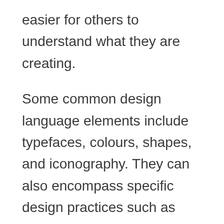easier for others to understand what they are creating.
Some common design language elements include typefaces, colours, shapes, and iconography. They can also encompass specific design practices such as layout grids or user experience guidelines.
While there is no one definitive definition of design language, it typically refers to the visual aspects of web and mobile applications. It's often used to create a unified look and feel for a product or project, as well